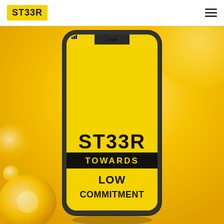ST33R [logo] [hamburger menu]
[Figure (illustration): Yellow gradient background with a smartphone mockup showing the ST33R app. The phone screen displays 'ST33R' in large bold black text, then 'TOWARDS' in yellow text on a black banner, then 'LOW COMMITMENT' in bold black text on yellow background. Decorative yellow/gold orbs appear around the phone.]